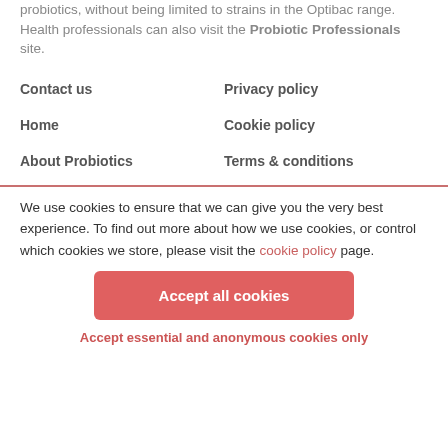probiotics, without being limited to strains in the Optibac range. Health professionals can also visit the Probiotic Professionals site.
Contact us
Privacy policy
Home
Cookie policy
About Probiotics
Terms & conditions
We use cookies to ensure that we can give you the very best experience. To find out more about how we use cookies, or control which cookies we store, please visit the cookie policy page.
Accept all cookies
Accept essential and anonymous cookies only